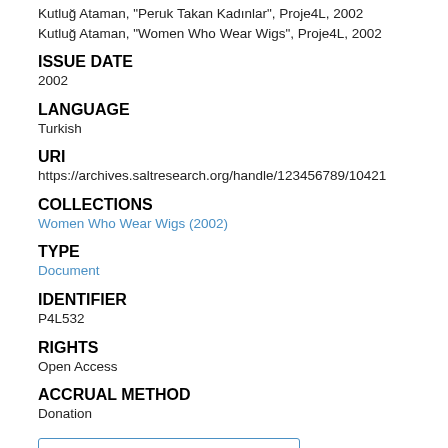Kutluğ Ataman, "Peruk Takan Kadınlar", Proje4L, 2002
Kutluğ Ataman, "Women Who Wear Wigs", Proje4L, 2002
ISSUE DATE
2002
LANGUAGE
Turkish
URI
https://archives.saltresearch.org/handle/123456789/10421
COLLECTIONS
Women Who Wear Wigs (2002)
TYPE
Document
IDENTIFIER
P4L532
RIGHTS
Open Access
ACCRUAL METHOD
Donation
Show full item record
Rights statement